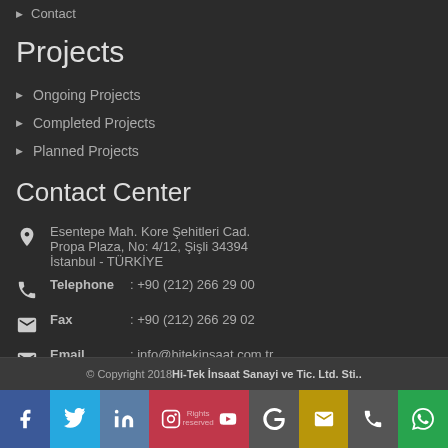Contact
Projects
Ongoing Projects
Completed Projects
Planned Projects
Contact Center
Esentepe Mah. Kore Şehitleri Cad.
Propa Plaza, No: 4/12, Şişli 34394
İstanbul - TÜRKİYE
Telephone : +90 (212) 266 29 00
Fax : +90 (212) 266 29 02
Email : info@hitekinsaat.com.tr
© Copyright 2018 Hi-Tek İnsaat Sanayi ve Tic. Ltd. Sti.. Rights reserved.